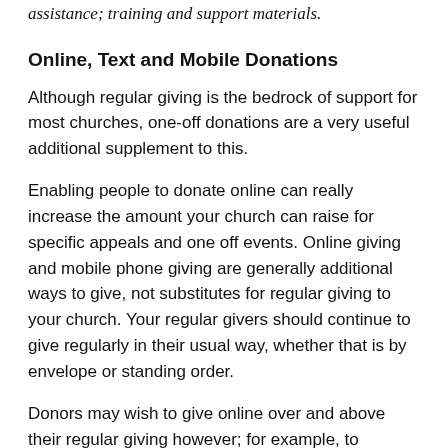assistance; training and support materials.
Online, Text and Mobile Donations
Although regular giving is the bedrock of support for most churches, one-off donations are a very useful additional supplement to this.
Enabling people to donate online can really increase the amount your church can raise for specific appeals and one off events. Online giving and mobile phone giving are generally additional ways to give, not substitutes for regular giving to your church. Your regular givers should continue to give regularly in their usual way, whether that is by envelope or standing order.
Donors may wish to give online over and above their regular giving however; for example, to specific appeals or to mark special occasions. Online giving can also help